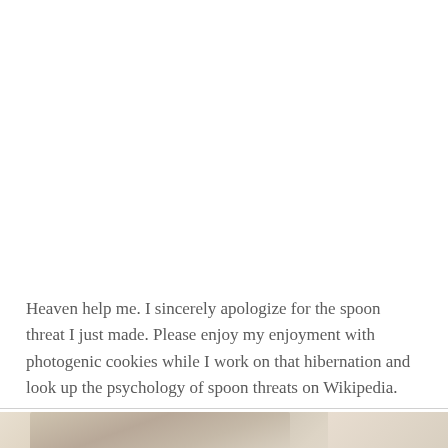Heaven help me. I sincerely apologize for the spoon threat I just made. Please enjoy my enjoyment with photogenic cookies while I work on that hibernation and look up the psychology of spoon threats on Wikipedia.
[Figure (photo): Partial view of what appears to be baked goods or cookies, shown at the bottom of the page, cropped]